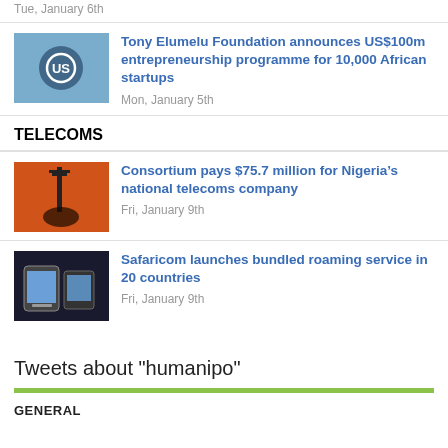Tue, January 6th
Tony Elumelu Foundation announces US$100m entrepreneurship programme for 10,000 African startups
Mon, January 5th
TELECOMS
Consortium pays $75.7 million for Nigeria's national telecoms company
Fri, January 9th
Safaricom launches bundled roaming service in 20 countries
Fri, January 9th
Tweets about "humanipo"
GENERAL